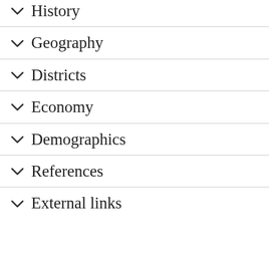History
Geography
Districts
Economy
Demographics
References
External links